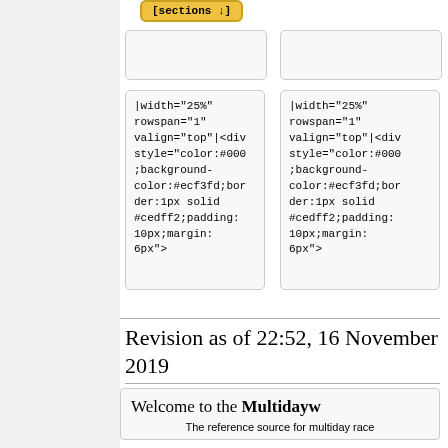[Figure (screenshot): Wikipedia-style page editor showing wiki markup code in two side-by-side boxes with attributes: |width='25%' rowspan='1' valign='top'|<div style='color:#000;background-color:#ecf3fd;border:1px solid #cedff2;padding:10px;margin:6px'>]
Revision as of 22:52, 16 November 2019
Welcome to the Multidayw
The reference source for multiday race